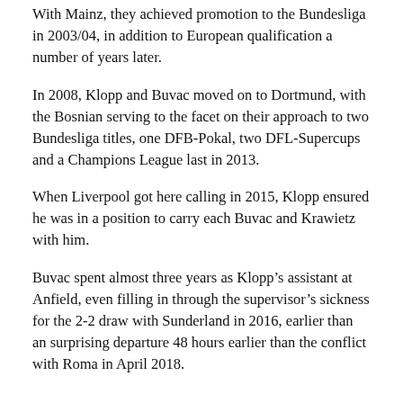With Mainz, they achieved promotion to the Bundesliga in 2003/04, in addition to European qualification a number of years later.
In 2008, Klopp and Buvac moved on to Dortmund, with the Bosnian serving to the facet on their approach to two Bundesliga titles, one DFB-Pokal, two DFL-Supercups and a Champions League last in 2013.
When Liverpool got here calling in 2015, Klopp ensured he was in a position to carry each Buvac and Krawietz with him.
Buvac spent almost three years as Klopp’s assistant at Anfield, even filling in through the supervisor’s sickness for the 2-2 draw with Sunderland in 2016, earlier than an surprising departure 48 hours earlier than the conflict with Roma in April 2018.